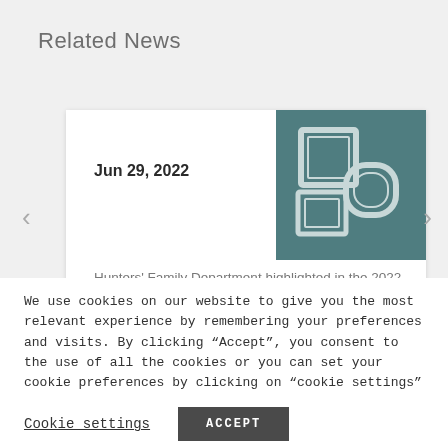Related News
Jun 29, 2022
[Figure (illustration): Decorative image with picture frames on teal background, representing Spear's Family Law publication]
Hunters' Family Department highlighted in the 2022 edition of the Spear's Family Law
We use cookies on our website to give you the most relevant experience by remembering your preferences and visits. By clicking "Accept", you consent to the use of all the cookies or you can set your cookie preferences by clicking on "cookie settings"
Cookie settings
ACCEPT